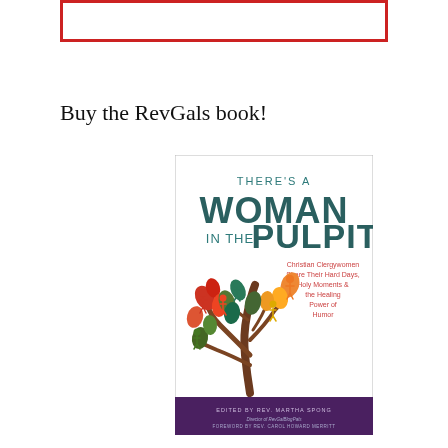[Figure (other): Red-bordered banner/advertisement at the top of the page]
Buy the RevGals book!
[Figure (illustration): Book cover of 'There's a Woman in the Pulpit: Christian Clergywomen Share Their Hard Days, Holy Moments & the Healing Power of Humor', edited by Rev. Martha Spong, Foreword by Rev. Carol Howard Merritt. Features an illustrated tree with colorful human figures and leaves.]